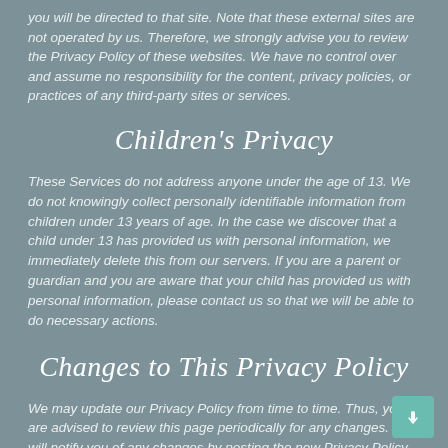you will be directed to that site. Note that these external sites are not operated by us. Therefore, we strongly advise you to review the Privacy Policy of these websites. We have no control over and assume no responsibility for the content, privacy policies, or practices of any third-party sites or services.
Children's Privacy
These Services do not address anyone under the age of 13. We do not knowingly collect personally identifiable information from children under 13 years of age. In the case we discover that a child under 13 has provided us with personal information, we immediately delete this from our servers. If you are a parent or guardian and you are aware that your child has provided us with personal information, please contact us so that we will be able to do necessary actions.
Changes to This Privacy Policy
We may update our Privacy Policy from time to time. Thus, you are advised to review this page periodically for any changes. We will notify you of any changes by posting the new Privacy Policy on this page.